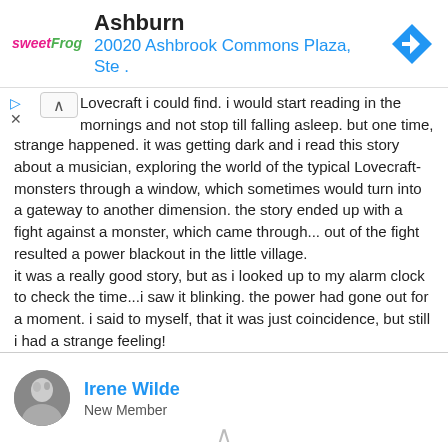[Figure (screenshot): sweetFrog advertisement banner showing location: Ashburn, 20020 Ashbrook Commons Plaza, Ste . with navigation arrow icon]
Lovecraft i could find. i would start reading in the mornings and not stop till falling asleep. but one time, something strange happened. it was getting dark and i read this story about a musician, exploring the world of the typical Lovecraft-monsters through a window, which sometimes would turn into a gateway to another dimension. the story ended up with a fight against a monster, which came through... out of the fight resulted a power blackout in the little village.
it was a really good story, but as i looked up to my alarm clock to check the time...i saw it blinking. the power had gone out for a moment. i said to myself, that it was just coincidence, but still i had a strange feeling!
Irene Wilde
New Member